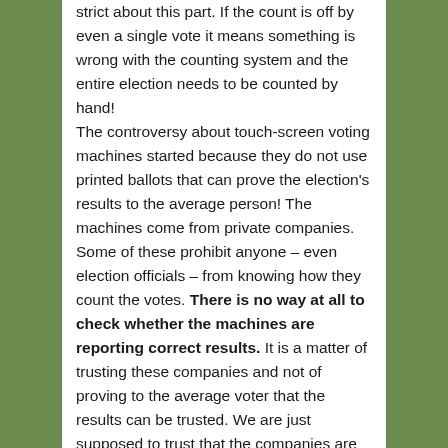strict about this part. If the count is off by even a single vote it means something is wrong with the counting system and the entire election needs to be counted by hand! The controversy about touch-screen voting machines started because they do not use printed ballots that can prove the election's results to the average person! The machines come from private companies. Some of these prohibit anyone – even election officials – from knowing how they count the votes. There is no way at all to check whether the machines are reporting correct results. It is a matter of trusting these companies and not of proving to the average voter that the results can be trusted. We are just supposed to trust that the companies are telling us who won the elections! Remember what I said about being told by people in positions of authority what has been decided and who our leaders will be? If these machines make mistakes or just break down, there is no way to figure out who really won the election. And if someone is able to rig the machines to change the vote counts, there is no way to know that, either. History tells us that this is a concern. People have gone to great